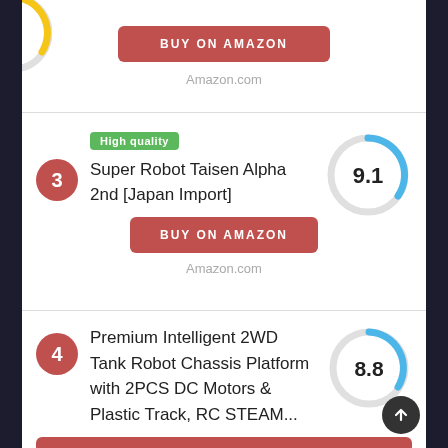BUY ON AMAZON
Amazon.com
3
High quality
Super Robot Taisen Alpha 2nd [Japan Import]
[Figure (infographic): Circular score gauge showing 9.1 with blue arc indicator]
BUY ON AMAZON
Amazon.com
4
Premium Intelligent 2WD Tank Robot Chassis Platform with 2PCS DC Motors & Plastic Track, RC STEAM...
[Figure (infographic): Circular score gauge showing 8.8 with blue arc indicator]